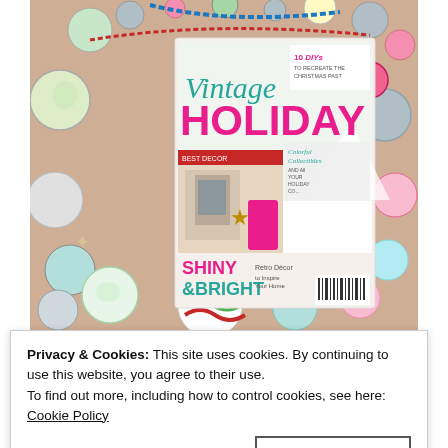[Figure (photo): A photo of a Vintage Holiday magazine cover surrounded by colorful Christmas ornaments, glitter, and snowflake decorations. The magazine shows 'Vintage HOLIDAY' text with '10 DIYs to recreate the Christmas past', 'Colorful Collectibles', and 'SHINY & BRIGHT Retro Decor to Inspire Your Home'.]
Privacy & Cookies: This site uses cookies. By continuing to use this website, you agree to their use.
To find out more, including how to control cookies, see here: Cookie Policy
Close and accept
Shed Feature